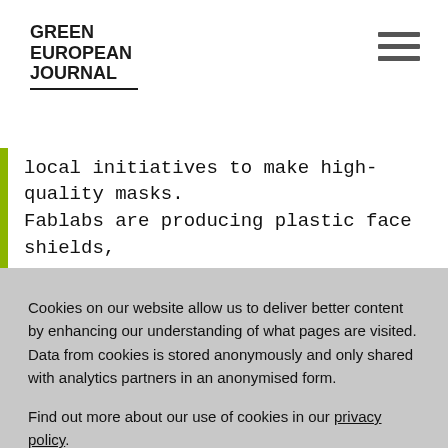GREEN EUROPEAN JOURNAL
local initiatives to make high-quality masks. Fablabs are producing plastic face shields,
Cookies on our website allow us to deliver better content by enhancing our understanding of what pages are visited. Data from cookies is stored anonymously and only shared with analytics partners in an anonymised form.

Find out more about our use of cookies in our privacy policy.
GOT IT